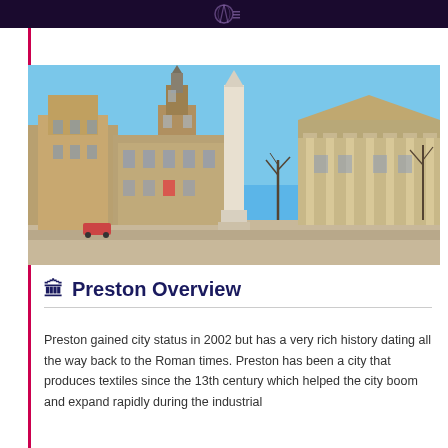[Figure (photo): Photo of Preston city centre showing historic neoclassical buildings, a tall white obelisk war memorial in the centre, a church spire, and a columned municipal building on the right, under a clear blue sky.]
🏛 Preston Overview
Preston gained city status in 2002 but has a very rich history dating all the way back to the Roman times. Preston has been a city that produces textiles since the 13th century which helped the city boom and expand rapidly during the industrial